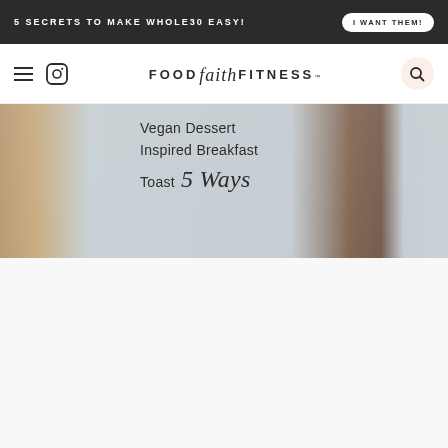5 SECRETS TO MAKE WHOLE30 EASY! | I WANT THEM!
[Figure (logo): Food Faith Fitness logo with hamburger menu and Instagram icon on the left, search icon on the right]
[Figure (photo): Vegan Dessert Inspired Breakfast Toast 5 Ways — food photo showing toast slices on a light blue surface with overlay text]